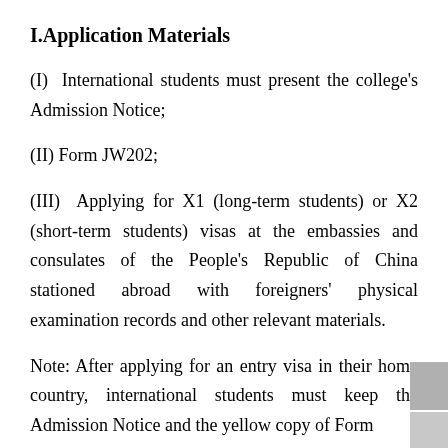I.Application Materials
(I)  International students must present the college's Admission Notice;
(II) Form JW202;
(III)  Applying for X1 (long-term students) or X2 (short-term students) visas at the embassies and consulates of the People's Republic of China stationed abroad with foreigners' physical examination records and other relevant materials.
Note: After applying for an entry visa in their home country, international students must keep the Admission Notice and the yellow copy of Form